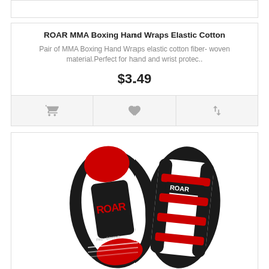ROAR MMA Boxing Hand Wraps Elastic Cotton
Pair of MMA Boxing Hand Wraps elastic cotton fiber- woven material.Perfect for hand and wrist protec..
$3.49
[Figure (photo): Two ROAR MMA Boxing Kick Strike Shield Thai Pads, black, white and red color scheme, showing front and side views.]
ROAR MMA Boxing Kick Strike Shields Curved Thai Pad